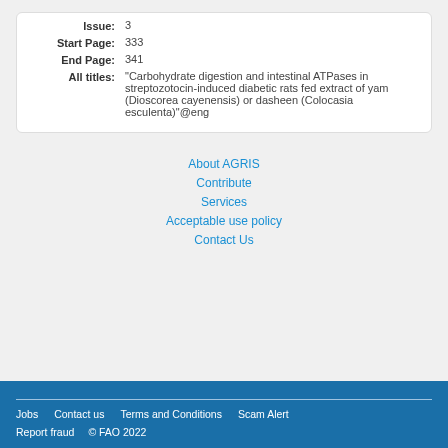| Issue: | 3 |
| Start Page: | 333 |
| End Page: | 341 |
| All titles: | "Carbohydrate digestion and intestinal ATPases in streptozotocin-induced diabetic rats fed extract of yam (Dioscorea cayenensis) or dasheen (Colocasia esculenta)"@eng |
About AGRIS
Contribute
Services
Acceptable use policy
Contact Us
Jobs  Contact us  Terms and Conditions  Scam Alert  Report fraud  © FAO 2022